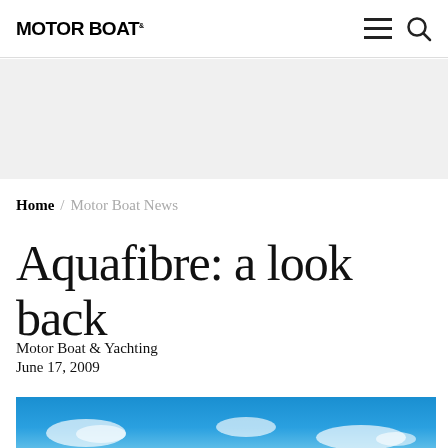MOTOR BOAT & Yachting
Home / Motor Boat News
Aquafibre: a look back
Motor Boat & Yachting
June 17, 2009
[Figure (photo): Blue sky with white clouds — top portion of an article hero image]